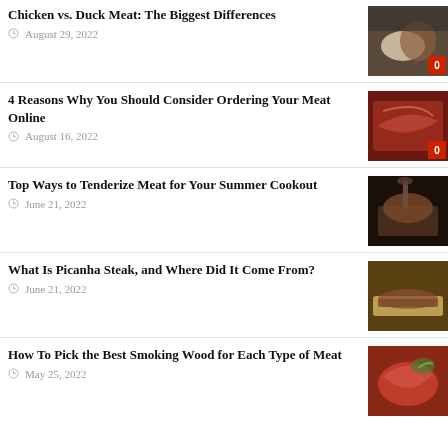Chicken vs. Duck Meat: The Biggest Differences | August 29, 2022
4 Reasons Why You Should Consider Ordering Your Meat Online | August 16, 2022
Top Ways to Tenderize Meat for Your Summer Cookout | June 21, 2022
What Is Picanha Steak, and Where Did It Come From? | June 21, 2022
How To Pick the Best Smoking Wood for Each Type of Meat | May 25, 2022